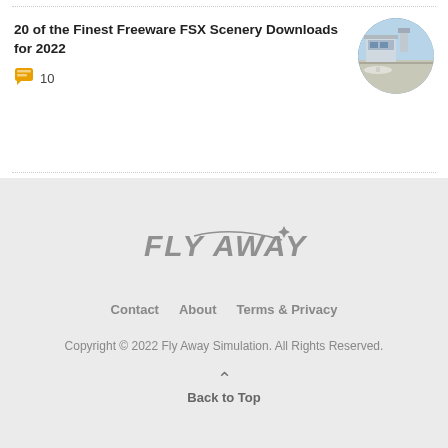20 of the Finest Freeware FSX Scenery Downloads for 2022
10
[Figure (photo): Circular thumbnail photo of an airport scenery with buildings and ramp area]
[Figure (logo): Fly Away Simulation logo with stylized text and star/swoosh graphic]
Contact   About   Terms & Privacy
Copyright © 2022 Fly Away Simulation. All Rights Reserved.
Back to Top